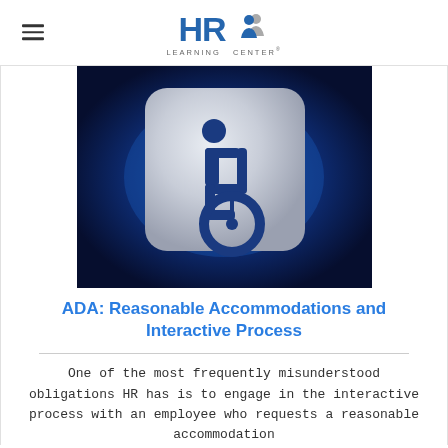HR Learning Center
[Figure (illustration): Wheelchair accessibility icon — a metallic silver rounded-square badge with a blue wheelchair symbol on a dark blue glowing background.]
ADA: Reasonable Accommodations and Interactive Process
One of the most frequently misunderstood obligations HR has is to engage in the interactive process with an employee who requests a reasonable accommodation